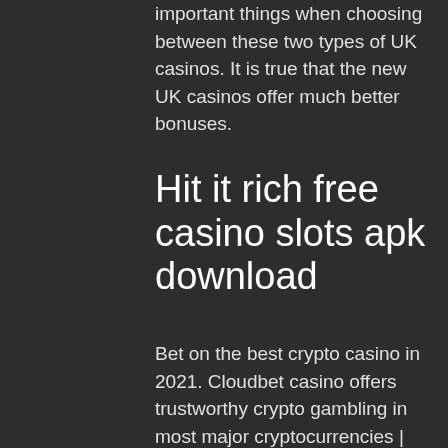important things when choosing between these two types of UK casinos. It is true that the new UK casinos offer much better bonuses.
Hit it rich free casino slots apk download
Bet on the best crypto casino in 2021. Cloudbet casino offers trustworthy crypto gambling in most major cryptocurrencies | welcome bonus up to 5 btc! Thanks to its easy to use interface, edige has quickly become one of the world's most popular bitcoin wallets for sports betting, poker and casino gaming. You can use your bitcoin wallet like any other digital wallet and handle your sports betting payments with ease. It is extremely easy to obtain a wallet and. The ultimate guide to bitcoin sports betting and bitcoin casino gambling. Cryptocurrency is anonymous in the sense that you can create